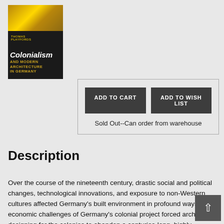[Figure (illustration): Book cover for 'Colonialism and Modern Architecture in Germany' with dark background, gold decorative elements at top, and white/gold text]
ADD TO CART
ADD TO WISH LIST
Sold Out--Can order from warehouse
Description
Over the course of the nineteenth century, drastic social and political changes, technological innovations, and exposure to non-Western cultures affected Germany's built environment in profound ways. The economic challenges of Germany's colonial project forced architects designing for the colonies to abandon a centuries-long, highly ornamental architectural style in favor of structural technologies and building materials that catered the local contexts of its remote colonies, such as prefabri systems. As German architects gathered information about the